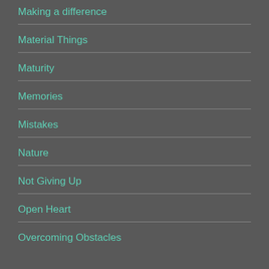Making a difference
Material Things
Maturity
Memories
Mistakes
Nature
Not Giving Up
Open Heart
Overcoming Obstacles